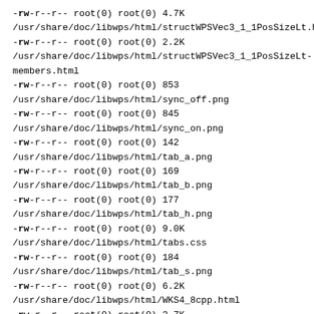-rw-r--r--  root(0)      root(0)        4.7K /usr/share/doc/libwps/html/structWPSVec3_1_1PosSizeLt.html
-rw-r--r--  root(0)      root(0)        2.2K /usr/share/doc/libwps/html/structWPSVec3_1_1PosSizeLt-members.html
-rw-r--r--  root(0)      root(0)        853 /usr/share/doc/libwps/html/sync_off.png
-rw-r--r--  root(0)      root(0)        845 /usr/share/doc/libwps/html/sync_on.png
-rw-r--r--  root(0)      root(0)        142 /usr/share/doc/libwps/html/tab_a.png
-rw-r--r--  root(0)      root(0)        169 /usr/share/doc/libwps/html/tab_b.png
-rw-r--r--  root(0)      root(0)        177 /usr/share/doc/libwps/html/tab_h.png
-rw-r--r--  root(0)      root(0)        9.0K /usr/share/doc/libwps/html/tabs.css
-rw-r--r--  root(0)      root(0)        184 /usr/share/doc/libwps/html/tab_s.png
-rw-r--r--  root(0)      root(0)        6.2K /usr/share/doc/libwps/html/WKS4_8cpp.html
-rw-r--r--  root(0)      root(0)        3.7K